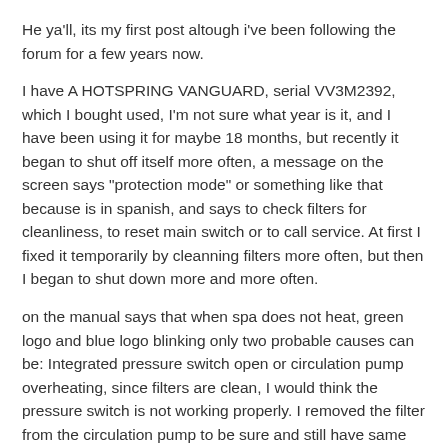He ya'll, its my first post altough i've been following the forum for a few years now.
I have A HOTSPRING VANGUARD, serial VV3M2392, which I bought used, I'm not sure what year is it, and I have been using it for maybe 18 months, but recently it began to shut off itself more often, a message on the screen says "protection mode" or something like that because is in spanish, and says to check filters for cleanliness, to reset main switch or to call service. At first I fixed it temporarily by cleanning filters more often, but then I began to shut down more and more often.
on the manual says that when spa does not heat, green logo and blue logo blinking only two probable causes can be: Integrated pressure switch open or circulation pump overheating, since filters are clean, I would think the pressure switch is not working properly. I removed the filter from the circulation pump to be sure and still have same problem
I live down in Mexico right now and its not easy to get proper spa service here, I have a friend that was helping me, but he has not answer for quite a few weeks now, he told me to first change the